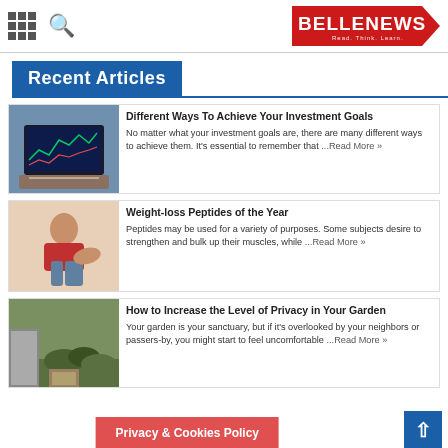BELLENEWS - Read. Think. Learn.
Recent Articles
[Figure (photo): Laptop displaying stock charts on a desk]
Different Ways To Achieve Your Investment Goals
No matter what your investment goals are, there are many different ways to achieve them. It's essential to remember that ...Read More »
[Figure (photo): Woman in red sports bra showing weight loss, holding out oversized jeans]
Weight-loss Peptides of the Year
Peptides may be used for a variety of purposes. Some subjects desire to strengthen and bulk up their muscles, while ...Read More »
[Figure (photo): Garden with stone wall and lush green plants]
How to Increase the Level of Privacy in Your Garden
Your garden is your sanctuary, but if it's overlooked by your neighbors or passers-by, you might start to feel uncomfortable ...Read More »
Privacy & Cookies Policy